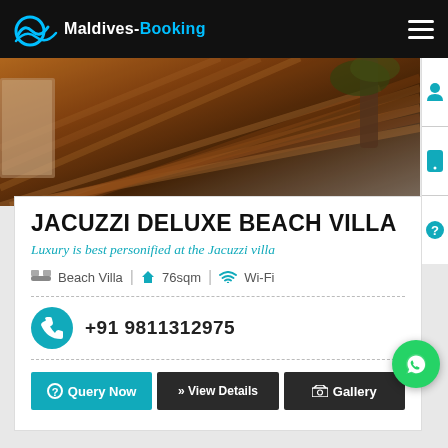Maldives-Booking
[Figure (photo): Wooden deck/boardwalk with warm sunset lighting and a palm tree, hero image for beach villa listing]
JACUZZI DELUXE BEACH VILLA
Luxury is best personified at the Jacuzzi villa
Beach Villa | 76sqm | Wi-Fi
+91 9811312975
Query Now | View Details | Gallery